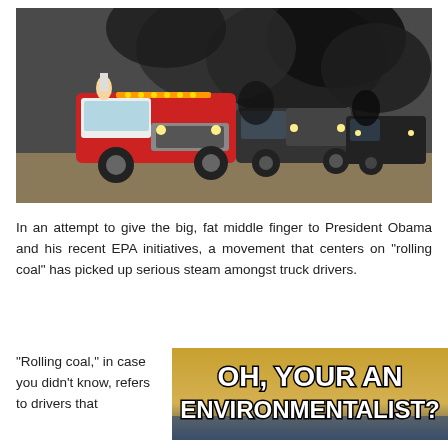[Figure (photo): Photo of large diesel pickup trucks driving with thick black smoke billowing behind them. A red and white truck is in the foreground with a person standing partially out the window. Two dark-colored trucks follow behind, all emitting heavy black exhaust smoke.]
In an attempt to give the big, fat middle finger to President Obama and his recent EPA initiatives, a movement that centers on “rolling coal” has picked up serious steam amongst truck drivers.
“Rolling coal,” in case you didn’t know, refers to drivers that
[Figure (photo): Meme image with tan/golden background showing bold white text with black outline reading: OH, YOUR AN ENVIRONMENTALIST?]